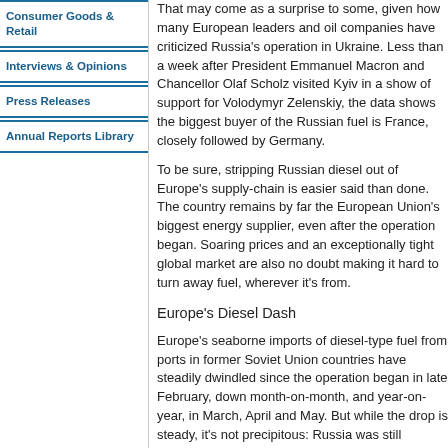Consumer Goods & Retail
Interviews & Opinions
Press Releases
Annual Reports Library
That may come as a surprise to some, given how many European leaders and oil companies have criticized Russia's operation in Ukraine. Less than a week after President Emmanuel Macron and Chancellor Olaf Scholz visited Kyiv in a show of support for Volodymyr Zelenskiy, the data shows the biggest buyer of the Russian fuel is France, closely followed by Germany.
To be sure, stripping Russian diesel out of Europe's supply-chain is easier said than done. The country remains by far the European Union's biggest energy supplier, even after the operation began. Soaring prices and an exceptionally tight global market are also no doubt making it hard to turn away fuel, wherever it's from.
Europe's Diesel Dash
Europe's seaborne imports of diesel-type fuel from ports in former Soviet Union countries have steadily dwindled since the operation began in late February, down month-on-month, and year-on-year, in March, April and May. But while the drop is steady, it's not precipitous: Russia was still responsible for more than half of Europe's imports of diesel-type fuel in May, dwarfing shipments from other suppliers in the Middle East and Asia, according to Vortexa data.
The decline also appears to have found a floor: Europe's average daily imports during the first...